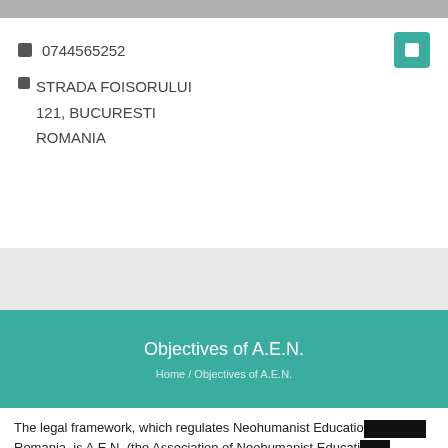🟦 0744565252
🟦 STRADA FOISORULUI 121, BUCURESTI ROMANIA
Objectives of A.E.N.
Home / Objectives of A.E.N.
The legal framework, which regulates Neohumanist Education in Romania, is A.E.N. (the Association of Neohumanist Education),